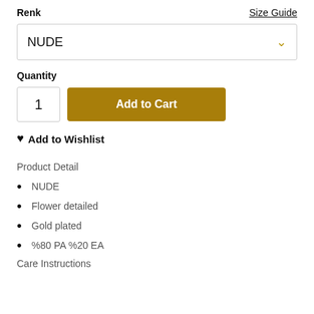Renk
Size Guide
NUDE
Quantity
1
Add to Cart
♥ Add to Wishlist
Product Detail
NUDE
Flower detailed
Gold plated
%80 PA %20 EA
Care Instructions